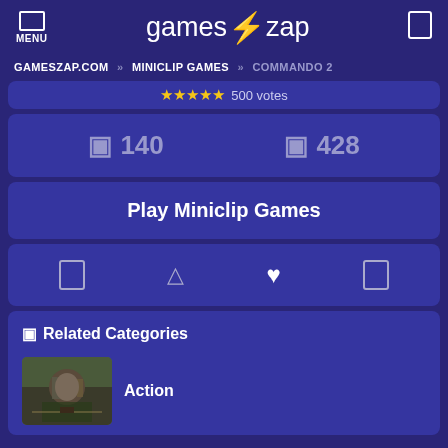MENU | gameszap | [search]
GAMESZAP.COM » MINICLIP GAMES » COMMANDO 2
★★★★★ 500 votes
🎮 140  🎮 428
Play Miniclip Games
[icon] [triangle] [heart] [icon]
🎮 Related Categories
Action